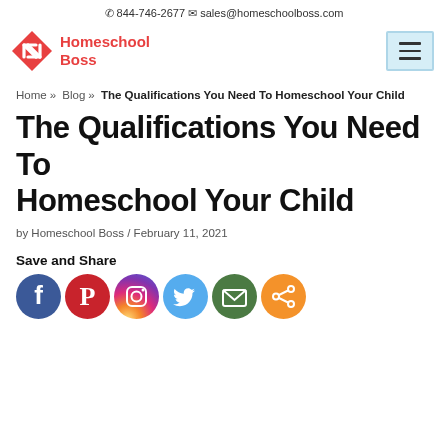844-746-2677  sales@homeschoolboss.com
[Figure (logo): Homeschool Boss logo with red diamond arrow icon and red text]
Home » Blog » The Qualifications You Need To Homeschool Your Child
The Qualifications You Need To Homeschool Your Child
by Homeschool Boss / February 11, 2021
Save and Share
[Figure (infographic): Social share icons: Facebook (blue), Pinterest (red), Instagram (gradient), Twitter (light blue), Email (green), Share (orange)]